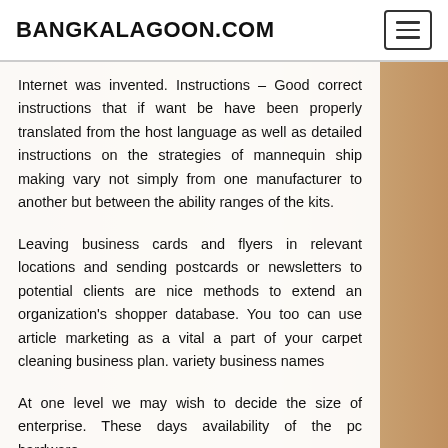BANGKALAGOON.COM
Internet was invented. Instructions – Good correct instructions that if want be have been properly translated from the host language as well as detailed instructions on the strategies of mannequin ship making vary not simply from one manufacturer to another but between the ability ranges of the kits.
Leaving business cards and flyers in relevant locations and sending postcards or newsletters to potential clients are nice methods to extend an organization's shopper database. You too can use article marketing as a vital a part of your carpet cleaning business plan. variety business names
At one level we may wish to decide the size of enterprise. These days availability of the pc hardware,